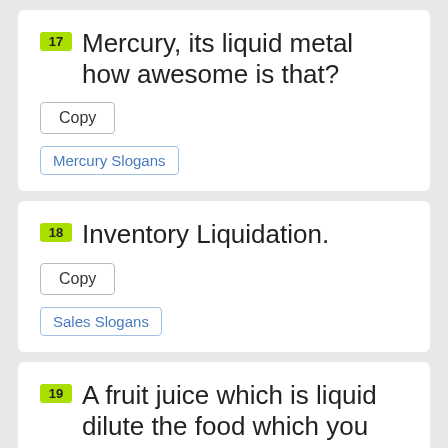17 Mercury, its liquid metal how awesome is that?
18 Inventory Liquidation.
19 A fruit juice which is liquid dilute the food which you eat